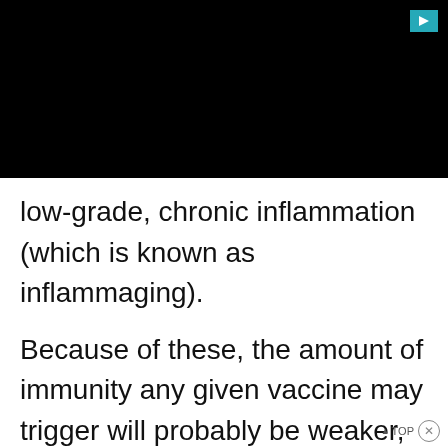[Figure (other): Black video player area with a teal/cyan play button icon in the top right corner]
low-grade, chronic inflammation (which is known as inflammaging).
Because of these, the amount of immunity any given vaccine may trigger will probably be weaker, and it may not last as long as it would in someone younger. It is still too early to tell how our being